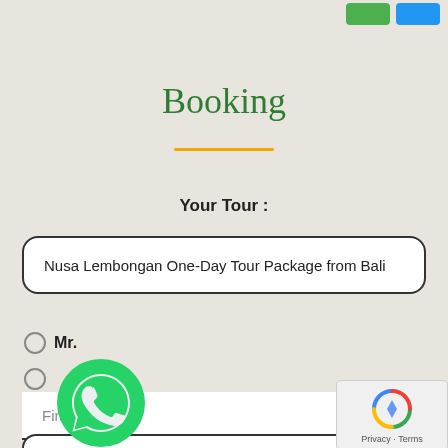[Figure (screenshot): Partial green and blue buttons at top right, cropped from navigation bar]
Booking
Your Tour :
Nusa Lembongan One-Day Tour Package from Bali
Mr.
First Name
[Figure (logo): WhatsApp green circle logo with phone handset icon]
[Figure (screenshot): reCAPTCHA widget showing robot icon and Privacy - Terms text]